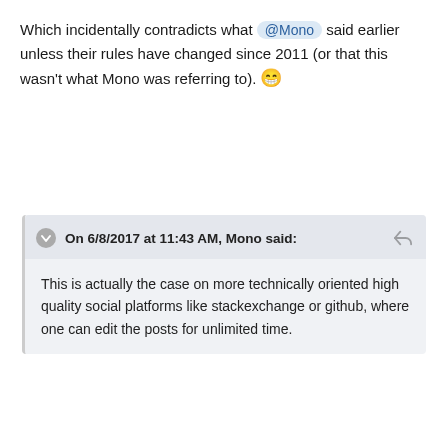Which incidentally contradicts what @Mono said earlier unless their rules have changed since 2011 (or that this wasn't what Mono was referring to). 😁
On 6/8/2017 at 11:43 AM, Mono said:
This is actually the case on more technically oriented high quality social platforms like stackexchange or github, where one can edit the posts for unlimited time.
Edited June 8, 2017 by John Eucist
Quote
moonmoonmover